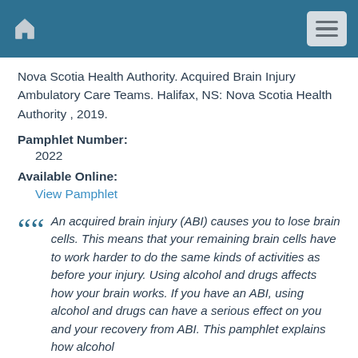Nova Scotia Health Authority. Acquired Brain Injury Ambulatory Care Teams. Halifax, NS: Nova Scotia Health Authority , 2019.
Pamphlet Number:
2022
Available Online:
View Pamphlet
An acquired brain injury (ABI) causes you to lose brain cells. This means that your remaining brain cells have to work harder to do the same kinds of activities as before your injury. Using alcohol and drugs affects how your brain works. If you have an ABI, using alcohol and drugs can have a serious effect on you and your recovery from ABI. This pamphlet explains how alcohol